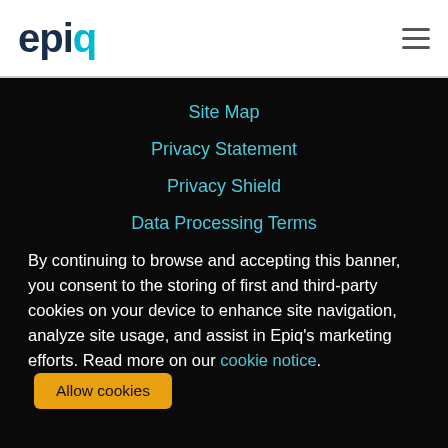epiq
Site Map
Privacy Statement
Privacy Shield
Data Processing Terms
By continuing to browse and accepting this banner, you consent to the storing of first and third-party cookies on your device to enhance site navigation, analyze site usage, and assist in Epiq's marketing efforts. Read more on our cookie notice.
Allow cookies